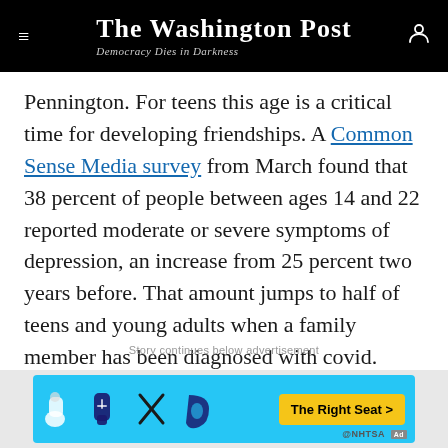The Washington Post — Democracy Dies in Darkness
Pennington. For teens this age is a critical time for developing friendships. A Common Sense Media survey from March found that 38 percent of people between ages 14 and 22 reported moderate or severe symptoms of depression, an increase from 25 percent two years before. That amount jumps to half of teens and young adults when a family member has been diagnosed with covid.
Story continues below advertisement
[Figure (other): Advertisement banner with cyan background showing child car seat icons and 'The Right Seat >' call-to-action button in yellow, with NHTSA branding]